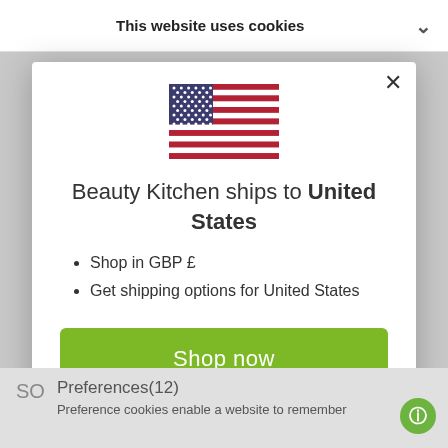This website uses cookies
[Figure (illustration): US flag SVG illustration]
Beauty Kitchen ships to United States
Shop in GBP £
Get shipping options for United States
Shop now
Change shipping country
Preferences(12)
Preference cookies enable a website to remember